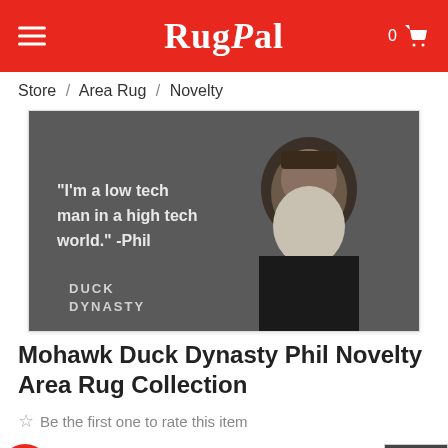RugPal
Store / Area Rug / Novelty
[Figure (photo): Product photo of a rug featuring an image of Phil Robertson from Duck Dynasty with text reading: "I'm a low tech man in a high tech world." -Phil, with Duck Dynasty logo in bottom left corner.]
Mohawk Duck Dynasty Phil Novelty Area Rug Collection
Be the first one to rate this item
Color: Multi Color (Out Of Stock)